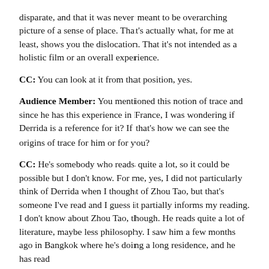disparate, and that it was never meant to be overarching picture of a sense of place. That's actually what, for me at least, shows you the dislocation. That it's not intended as a holistic film or an overall experience.
CC: You can look at it from that position, yes.
Audience Member: You mentioned this notion of trace and since he has this experience in France, I was wondering if Derrida is a reference for it? If that's how we can see the origins of trace for him or for you?
CC: He's somebody who reads quite a lot, so it could be possible but I don't know. For me, yes, I did not particularly think of Derrida when I thought of Zhou Tao, but that's someone I've read and I guess it partially informs my reading. I don't know about Zhou Tao, though. He reads quite a lot of literature, maybe less philosophy. I saw him a few months ago in Bangkok where he's doing a long residence, and he has read